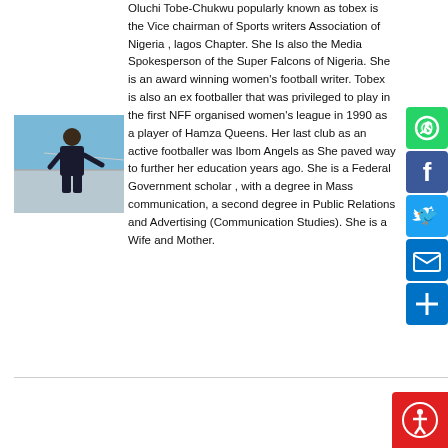Oluchi Tobe-Chukwu popularly known as tobex is the Vice chairman of Sports writers Association of Nigeria , lagos Chapter. She Is also the Media Spokesperson of the Super Falcons of Nigeria. She is an award winning women's football writer. Tobex is also an ex footballer that was privileged to play in the first NFF organised women's league in 1990 as a player of Hamza Queens. Her last club as an active footballer was Ibom Angels as She paved way to further her education years ago. She is a Federal Government scholar , with a degree in Mass communication, a second degree in Public Relations and Advertising (Communication Studies). She is a Wife and Mother.
[Figure (photo): Photo of Oluchi Tobe-Chukwu (tobex) standing on what appears to be a ship or waterfront deck, wearing dark jacket, with water/sea visible in background]